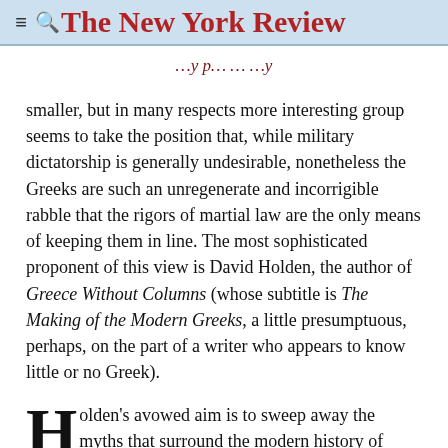The New York Review
smaller, but in many respects more interesting group seems to take the position that, while military dictatorship is generally undesirable, nonetheless the Greeks are such an unregenerate and incorrigible rabble that the rigors of martial law are the only means of keeping them in line. The most sophisticated proponent of this view is David Holden, the author of Greece Without Columns (whose subtitle is The Making of the Modern Greeks, a little presumptuous, perhaps, on the part of a writer who appears to know little or no Greek).
Holden's avowed aim is to sweep away the myths that surround the modern history of Greece and the